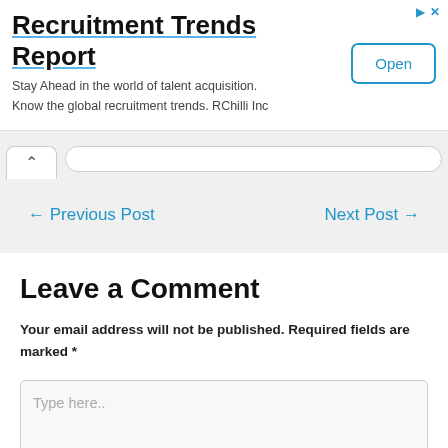[Figure (other): Advertisement banner for Recruitment Trends Report by RChilli Inc with an Open button]
← Previous Post
Next Post →
Leave a Comment
Your email address will not be published. Required fields are marked *
Type here..